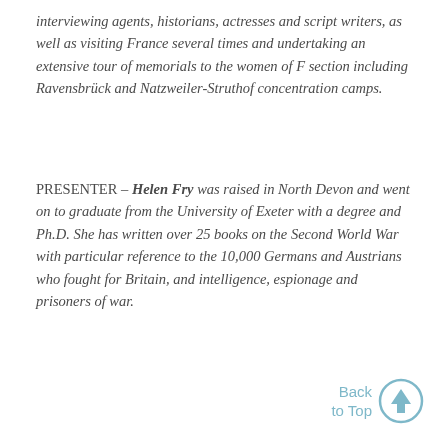interviewing agents, historians, actresses and script writers, as well as visiting France several times and undertaking an extensive tour of memorials to the women of F section including Ravensbrück and Natzweiler-Struthof concentration camps.
PRESENTER – Helen Fry was raised in North Devon and went on to graduate from the University of Exeter with a degree and Ph.D. She has written over 25 books on the Second World War with particular reference to the 10,000 Germans and Austrians who fought for Britain, and intelligence, espionage and prisoners of war.
[Figure (other): Back to Top button with upward arrow in a circle, styled in light blue/teal color]